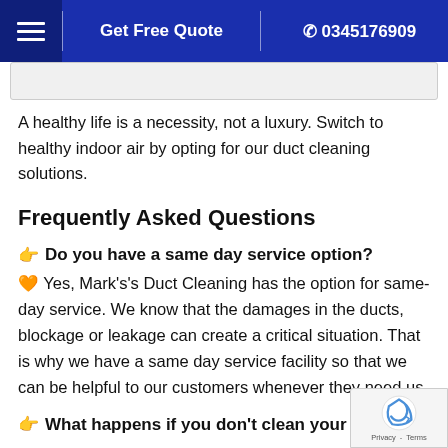Get Free Quote | 0345176909
A healthy life is a necessity, not a luxury. Switch to healthy indoor air by opting for our duct cleaning solutions.
Frequently Asked Questions
👉 Do you have a same day service option?
🧡 Yes, Mark's's Duct Cleaning has the option for same-day service. We know that the damages in the ducts, blockage or leakage can create a critical situation. That is why we have a same day service facility so that we can be helpful to our customers whenever they need us.
👉 What happens if you don't clean your air